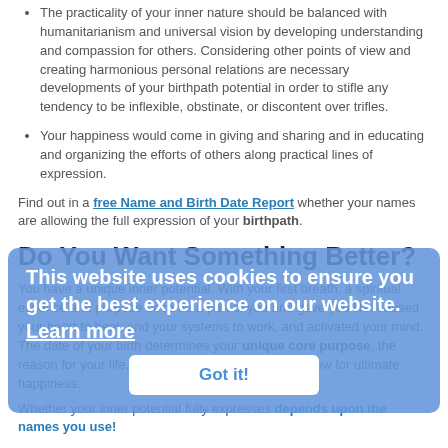The practicality of your inner nature should be balanced with humanitarianism and universal vision by developing understanding and compassion for others. Considering other points of view and creating harmonious personal relations are necessary developments of your birthpath potential in order to stifle any tendency to be inflexible, obstinate, or discontent over trifles.
Your happiness would come in giving and sharing and in educating and organizing the efforts of others along practical lines of expression.
Find out in a free Name and Birth Date Report whether your names are allowing the full expression of your birthpath.
Do You Want Something Better?
You have a unique inner potential. With your first breath, a spiritual essence and purpose became a part of you and gave you life, caused your heart to beat, and your systems to work, and activated your mind. The date of your birth determines your unique core purpose, the reason for your life, and the pathway you should follow for ultimate happiness.
Whether your inner potential fully expresses depends upon the names you use!
This website uses cookies to ensure you get the best experience on our website. Learn more
Got it!